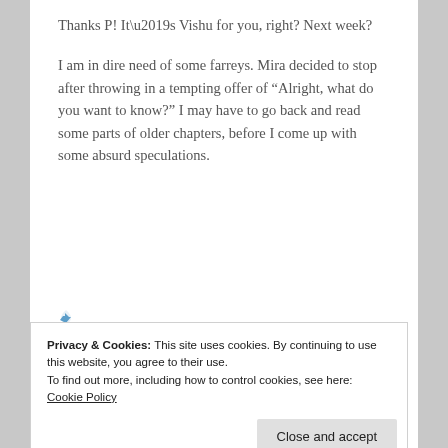Thanks P! It’s Vishu for you, right? Next week?
I am in dire need of some farreys. Mira decided to stop after throwing in a tempting offer of “Alright, what do you want to know?” I may have to go back and read some parts of older chapters, before I come up with some absurd speculations.
Privacy & Cookies: This site uses cookies. By continuing to use this website, you agree to their use.
To find out more, including how to control cookies, see here: Cookie Policy